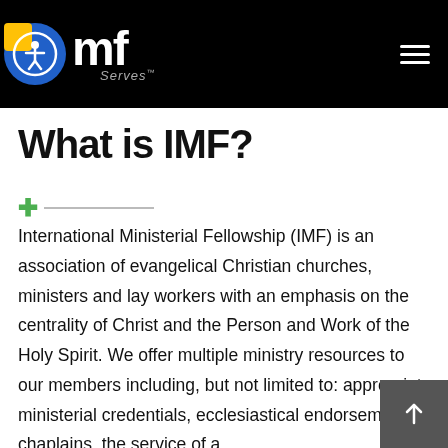IMF Serves
What is IMF?
International Ministerial Fellowship (IMF) is an association of evangelical Christian churches, ministers and lay workers with an emphasis on the centrality of Christ and the Person and Work of the Holy Spirit. We offer multiple ministry resources to our members including, but not limited to: appropriate ministerial credentials, ecclesiastical endorsement for chaplains, the service of a